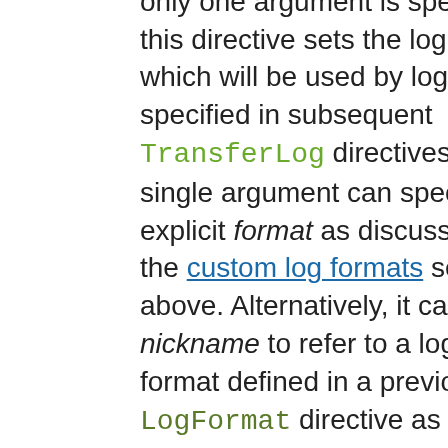forms. In the first form, where only one argument is specified, this directive sets the log format which will be used by logs specified in subsequent TransferLog directives. The single argument can specify an explicit format as discussed in the custom log formats section above. Alternatively, it can use a nickname to refer to a log format defined in a previous LogFormat directive as described below.

The second form of the LogFormat directive associates an explicit format with a nickname. This nickname can then be used in subsequent